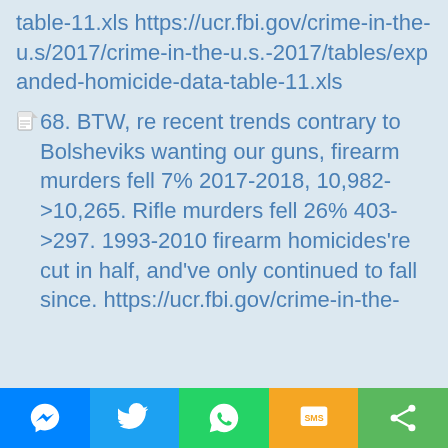table-11.xls https://ucr.fbi.gov/crime-in-the-u.s/2017/crime-in-the-u.s.-2017/tables/expanded-homicide-data-table-11.xls
68. BTW, re recent trends contrary to Bolsheviks wanting our guns, firearm murders fell 7% 2017-2018, 10,982->10,265. Rifle murders fell 26% 403->297. 1993-2010 firearm homicides're cut in half, and've only continued to fall since. https://ucr.fbi.gov/crime-in-the-